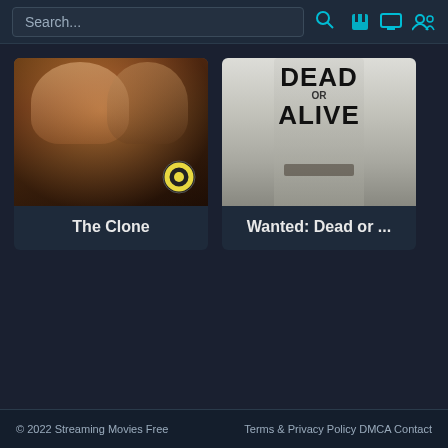Search...
[Figure (screenshot): Movie card for 'The Clone' showing a couple posing at an event with a Globo TV network logo overlay]
The Clone
[Figure (screenshot): Movie card for 'Wanted: Dead or Alive' showing black and white image of a person with 'DEAD OR ALIVE' text visible]
Wanted: Dead or ...
© 2022 Streaming Movies Free    Terms & Privacy Policy DMCA Contact